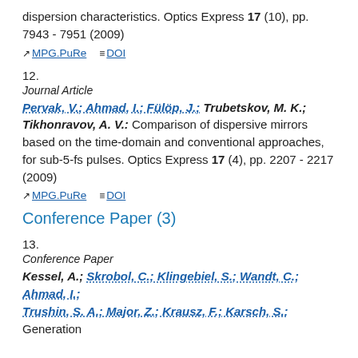dispersion characteristics. Optics Express 17 (10), pp. 7943 - 7951 (2009)
MPG.PuRe   DOI
12.
Journal Article
Pervak, V.; Ahmad, I.; Fülöp, J.; Trubetskov, M. K.; Tikhonravov, A. V.: Comparison of dispersive mirrors based on the time-domain and conventional approaches, for sub-5-fs pulses. Optics Express 17 (4), pp. 2207 - 2217 (2009)
MPG.PuRe   DOI
Conference Paper (3)
13.
Conference Paper
Kessel, A.; Skrobol, C.; Klingebiel, S.; Wandt, C.; Ahmad, I.; Trushin, S. A.; Major, Z.; Krausz, F.; Karsch, S.: Generation